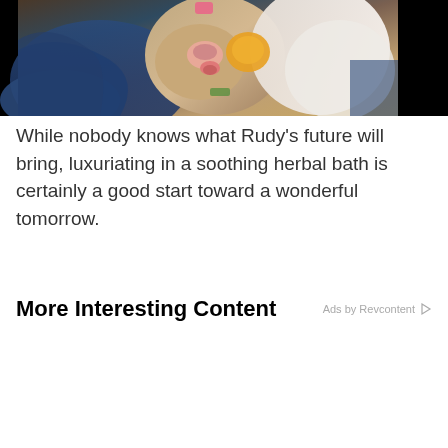[Figure (photo): Close-up photo of an animal (possibly a baby deer or opossum) with pink nose and tongue, wrapped in blue cloth, with colorful objects around it, against a black background on sides.]
While nobody knows what Rudy’s future will bring, luxuriating in a soothing herbal bath is certainly a good start toward a wonderful tomorrow.
More Interesting Content
Ads by Revcontent